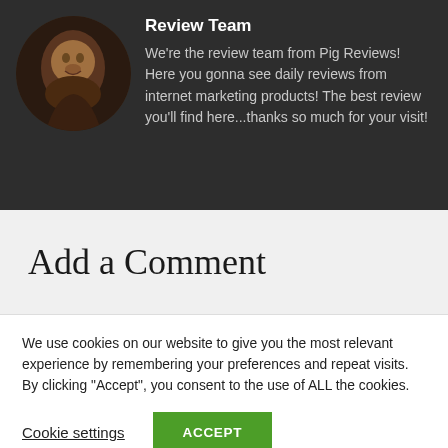[Figure (photo): Circular avatar photo of a person's face, set against dark background]
Review Team
We're the review team from Pig Reviews! Here you gonna see daily reviews from internet marketing products! The best review you'll find here...thanks so much for your visit!
Add a Comment
We use cookies on our website to give you the most relevant experience by remembering your preferences and repeat visits. By clicking "Accept", you consent to the use of ALL the cookies.
Cookie settings   ACCEPT